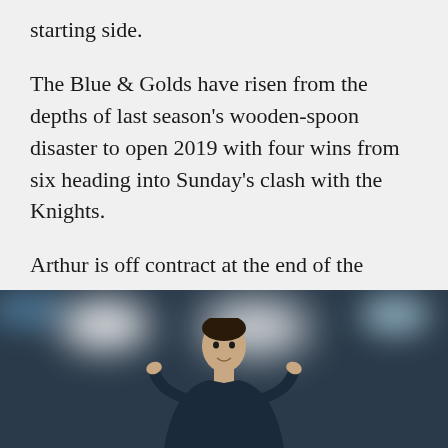starting side.
The Blue & Golds have risen from the depths of last season's wooden-spoon disaster to open 2019 with four wins from six heading into Sunday's clash with the Knights.
Arthur is off contract at the end of the season, along with several Eels players, and Lane is hoping club management rewards the coach with a contract extension.
[Figure (photo): A person (likely a rugby league player or coach) photographed from the waist up against a dark stadium background with blurred white and blue bokeh lights.]